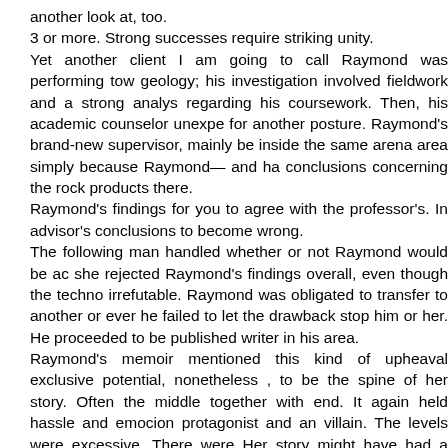another look at, too.
3 or more. Strong successes require striking unity.
Yet another client I am going to call Raymond was performing tow geology; his investigation involved fieldwork and a strong analys regarding his coursework. Then, his academic counselor unexpe for another posture. Raymond's brand-new supervisor, mainly be inside the same arena area simply because Raymond— and ha conclusions concerning the rock products there.
Raymond's findings for you to agree with the professor's. In advisor's conclusions to become wrong.
The following man handled whether or not Raymond would be ac she rejected Raymond's findings overall, even though the techno irrefutable. Raymond was obligated to transfer to another or ever he failed to let the drawback stop him or her. He proceeded to be published writer in his area.
Raymond's memoir mentioned this kind of upheaval exclusive potential, nonetheless , to be the spine of her story. Often the middle together with end. It again held hassle and emocion protagonist and an villain. The levels were excessive. There were Her story might have had a good compelling arc of a person involving his stage by pertinent over opposing forces.
Would he prefer to write this story? Not. In an email, he claimed, "